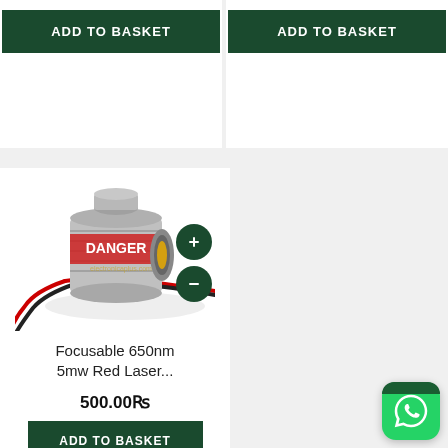[Figure (screenshot): E-commerce product listing page showing two partial product cards at top with 'ADD TO BASKET' buttons, and one full product card below showing a Focusable 650nm 5mw Red Laser module with price 500.00Rs and ADD TO BASKET button. WhatsApp contact button visible bottom right.]
ADD TO BASKET
ADD TO BASKET
Focusable 650nm 5mw Red Laser...
500.00Rs
ADD TO BASKET